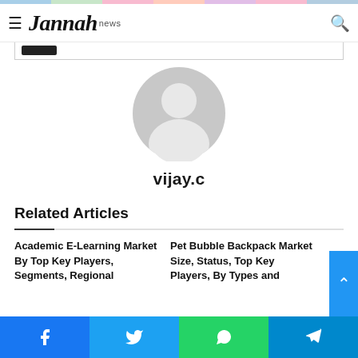Jannah news
[Figure (illustration): Gray placeholder avatar icon — circular silhouette of a person's head and shoulders]
vijay.c
Related Articles
Academic E-Learning Market By Top Key Players, Segments, Regional
Pet Bubble Backpack Market Size, Status, Top Key Players, By Types and
Facebook | Twitter | WhatsApp | Telegram